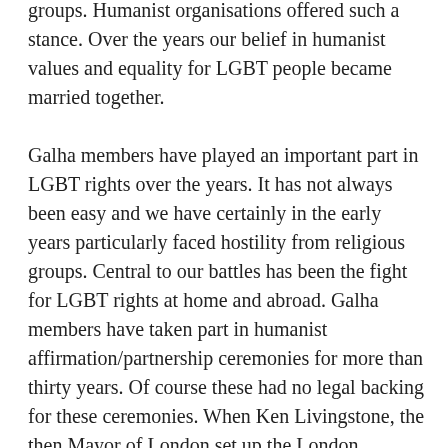groups. Humanist organisations offered such a stance. Over the years our belief in humanist values and equality for LGBT people became married together.

Galha members have played an important part in LGBT rights over the years. It has not always been easy and we have certainly in the early years particularly faced hostility from religious groups. Central to our battles has been the fight for LGBT rights at home and abroad. Galha members have taken part in humanist affirmation/partnership ceremonies for more than thirty years. Of course these had no legal backing for these ceremonies. When Ken Livingstone, the then Mayor of London set up the London Partnership Register in 2001, Galha members were quick to take part in humanist ceremonies to support this effort, partly to inspire Parliament to consider supportive legislation. Well before the civil partnership laws came into place, Galha was arguing and organising with a